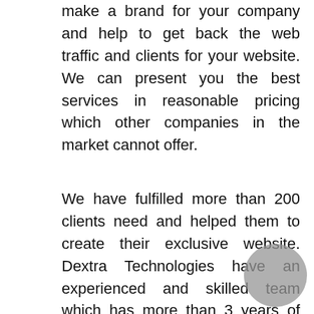make a brand for your company and help to get back the web traffic and clients for your website. We can present you the best services in reasonable pricing which other companies in the market cannot offer.
We have fulfilled more than 200 clients need and helped them to create their exclusive website. Dextra Technologies have an experienced and skilled team which has more than 3 years of experience in designing and developing Static and Dynamic websites, we are also specialized in WordPress website development and Web and Mobile Application development. CMS websites are hot and most of the clients expect nowadays. Once a CMS website is developed the client can easily change the content of the website according to his need and requirement without designers help. We are the affordable and